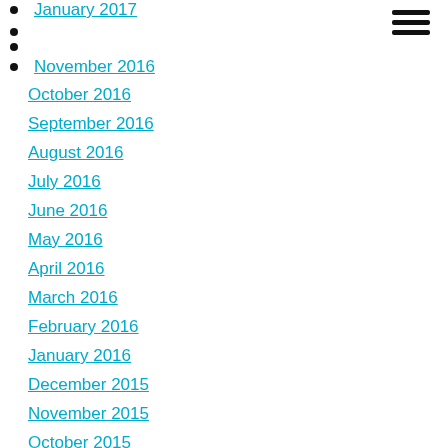January 2017
November 2016
October 2016
September 2016
August 2016
July 2016
June 2016
May 2016
April 2016
March 2016
February 2016
January 2016
December 2015
November 2015
October 2015
September 2015
July 2015